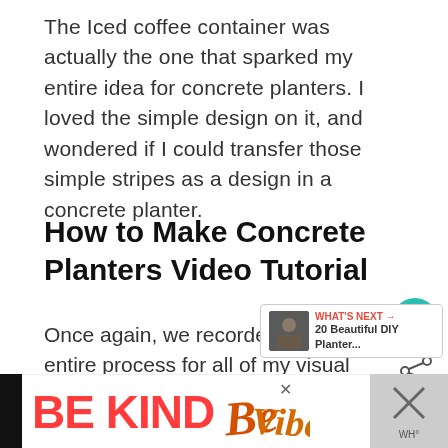The Iced coffee container was actually the one that sparked my entire idea for concrete planters. I loved the simple design on it, and wondered if I could transfer those simple stripes as a design in a concrete planter.
How to Make Concrete Planters Video Tutorial
Once again, we recorded the entire process for all of my visual learners out there. In this vide we walk through all three of our DIY concrete planters including how we made the shapes, we removed the molds, and some of the
[Figure (screenshot): UI overlay elements: heart/save button (teal circle), share button, 'What's Next' video recommendation panel showing '20 Beautiful DIY Planter...', and an advertisement banner at bottom reading 'BE KIND' in red with decorative script.]